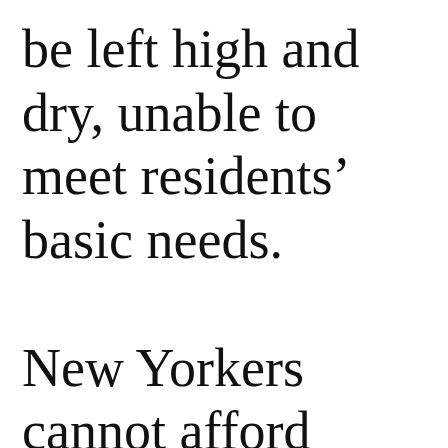be left high and dry, unable to meet residents' basic needs.

New Yorkers cannot afford transit cuts